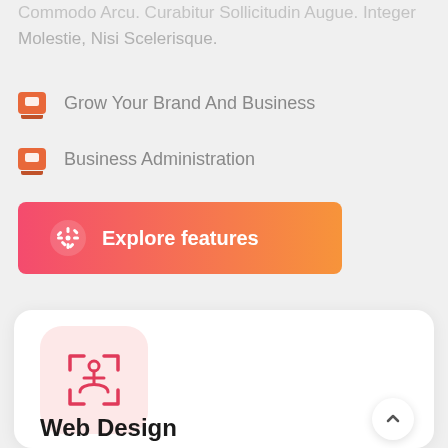Commodo Arcu. Curabitur Sollicitudin Augue. Integer Molestie, Nisi Scelerisque.
Grow Your Brand And Business
Business Administration
[Figure (other): Explore features button with gradient from red to orange and snowflake/asterisk icon]
[Figure (other): Card with pink rounded background containing a human figure scan icon, and Web Design title text at bottom]